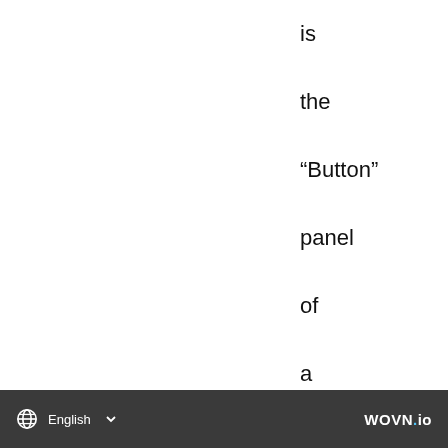is
the
“Button”
panel
of
a
set
of
four
Element
panels
that
replace
a
keyboard
English  WOVN.io